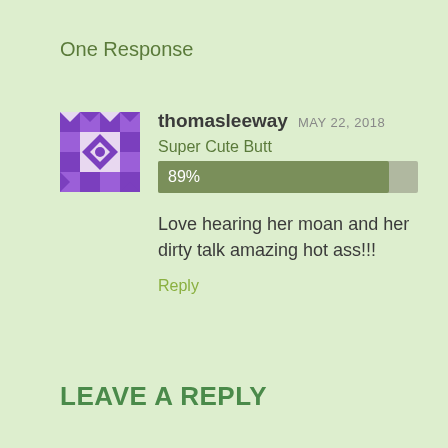One Response
[Figure (illustration): Purple and white geometric diamond/quilt pattern avatar icon for user thomasleeway]
thomasleeway MAY 22, 2018
Super Cute Butt
89%
Love hearing her moan and her dirty talk amazing hot ass!!!
Reply
LEAVE A REPLY